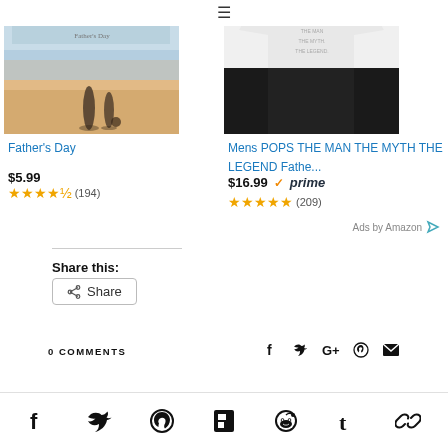[Figure (screenshot): Hamburger menu icon (three horizontal lines) in the top center navigation bar]
[Figure (photo): Book cover for Father's Day by Debbie Macomber showing two people walking on a beach]
Father's Day
$5.99
★★★★½ (194)
[Figure (photo): White t-shirt with text POPS THE MAN THE MYTH THE LEGEND on a dark background]
Mens POPS THE MAN THE MYTH THE LEGEND Fathe...
$16.99 ✓prime
★★★★★ (209)
Ads by Amazon
Share this:
Share
0 COMMENTS
Social icons: Facebook, Twitter, Google+, Pinterest, Email
Footer social icons: Facebook, Twitter, Pinterest, Flipboard, Reddit, Tumblr, chain/link